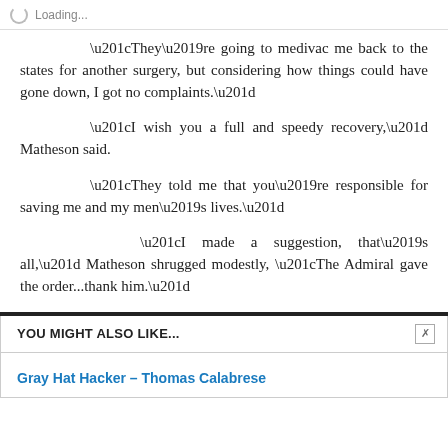Loading...
“They’re going to medivac me back to the states for another surgery, but considering how things could have gone down, I got no complaints.”
“I wish you a full and speedy recovery,” Matheson said.
“They told me that you’re responsible for saving me and my men’s lives.”
“I made a suggestion, that’s all,” Matheson shrugged modestly, “The Admiral gave the order...thank him.”
YOU MIGHT ALSO LIKE...
Gray Hat Hacker – Thomas Calabrese